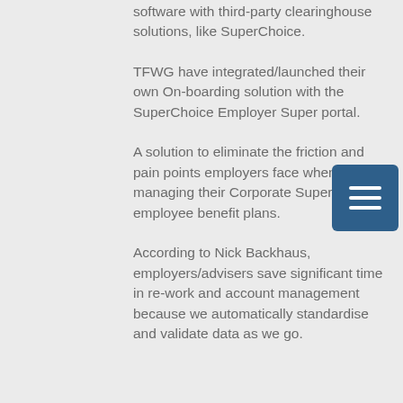software with third-party clearinghouse solutions, like SuperChoice.
TFWG have integrated/launched their own On-boarding solution with the SuperChoice Employer Super portal.
A solution to eliminate the friction and pain points employers face when managing their Corporate Super and employee benefit plans.
According to Nick Backhaus, employers/advisers save significant time in re-work and account management because we automatically standardise and validate data as we go.